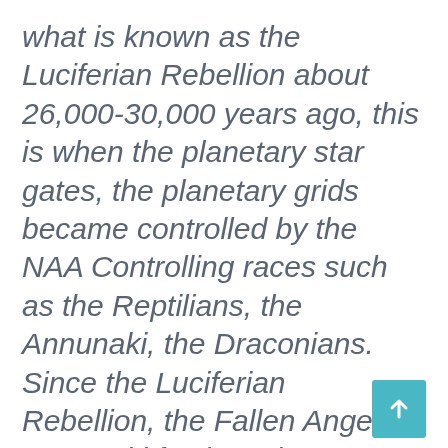what is known as the Luciferian Rebellion about 26,000-30,000 years ago, this is when the planetary star gates, the planetary grids became controlled by the NAA Controlling races such as the Reptilians, the Annunaki, the Draconians. Since the Luciferian Rebellion, the Fallen Angelic Annunaki factions that are sympathetic to the Nibiruian Agendas implanted alien machinery in the earth to set up reversal current networks that artificially forced the lowest density of the 3rd